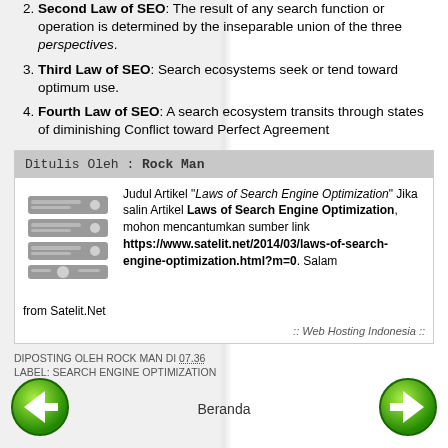Second Law of SEO: The result of any search function or operation is determined by the inseparable union of the three perspectives.
Third Law of SEO: Search ecosystems seek or tend toward optimum use.
Fourth Law of SEO: A search ecosystem transits through states of diminishing Conflict toward Perfect Agreement
Ditulis Oleh : Rock Man
Judul Artikel "Laws of Search Engine Optimization" Jika salin Artikel Laws of Search Engine Optimization, mohon mencantumkan sumber link https://www.satelit.net/2014/03/laws-of-search-engine-optimization.html?m=0. Salam from Satelit.Net
:: Web Hosting Indonesia ::
DIPOSTING OLEH ROCK MAN DI 07.36
LABEL: SEARCH ENGINE OPTIMIZATION
Beranda